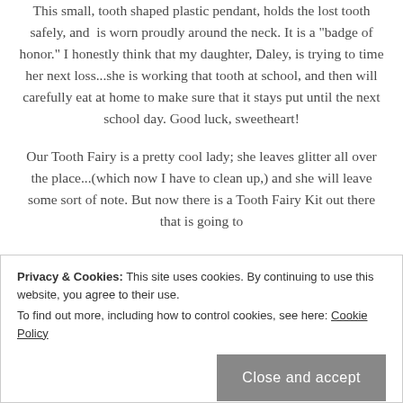This small, tooth shaped plastic pendant, holds the lost tooth safely, and is worn proudly around the neck. It is a "badge of honor." I honestly think that my daughter, Daley, is trying to time her next loss...she is working that tooth at school, and then will carefully eat at home to make sure that it stays put until the next school day. Good luck, sweetheart!
Our Tooth Fairy is a pretty cool lady; she leaves glitter all over the place...(which now I have to clean up,) and she will leave some sort of note. But now there is a Tooth Fairy Kit out there that is going to
Privacy & Cookies: This site uses cookies. By continuing to use this website, you agree to their use.
To find out more, including how to control cookies, see here: Cookie Policy
Close and accept
local tooth fairy, and one silk screened cloth deposit